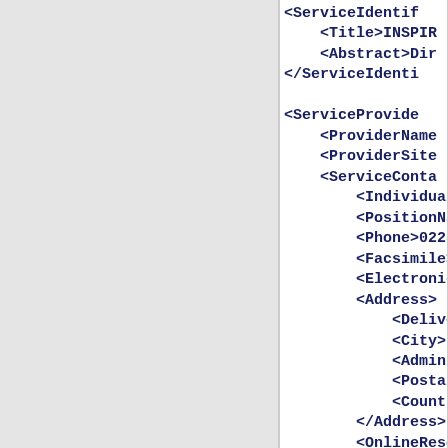[Figure (screenshot): Screenshot of an XML metadata document showing service identification and service provider XML tags. The left portion of the page is a gray panel, and the right portion shows white background with dark blue bold monospace XML code. Visible XML elements include ServiceIdentif..., Title>INSPIR..., Abstract>Dir..., /ServiceIdenti..., ServiceProvide..., ProviderName..., ProviderSite..., ServiceConta..., Individual..., PositionNa..., Phone>0228..., Facsimile>..., Electronic..., Address>, Delivery..., City>Bon..., Administ..., PostalCo..., Country>..., /Address>, OnlineReso..., HoursOfSer..., ContactIns..., Role>Point..., /ServiceCont..., /ServiceProvid..., DatasetMetadat...]